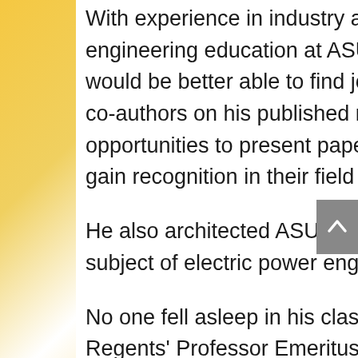With experience in industry and academia, Karady helped shape engineering education at ASU to reflect industry needs so graduates would be better able to find jobs. Karady included his students as co-authors on his published research to provide them with opportunities to present papers at international conferences and gain recognition in their field before graduating.
He also architected ASU's EEE 360 course, which introduces the subject of electric power engineering to undergraduates.
No one fell asleep in his classes, recalls Gerald Thomas Heydt, Regents' Professor Emeritus of electrical engineering and distinguished sustainability scientist. Heydt says Karady loved to